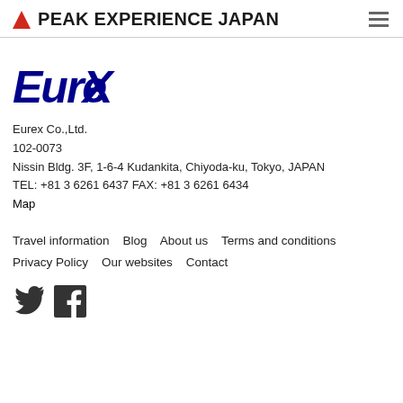PEAK EXPERIENCE JAPAN
[Figure (logo): Eurex handwritten-style logo in dark blue]
Eurex Co.,Ltd.
102-0073
Nissin Bldg. 3F, 1-6-4 Kudankita, Chiyoda-ku, Tokyo, JAPAN
TEL: +81 3 6261 6437 FAX: +81 3 6261 6434
Map
Travel information   Blog   About us   Terms and conditions
Privacy Policy   Our websites   Contact
[Figure (logo): Twitter and Facebook social media icons in dark gray]